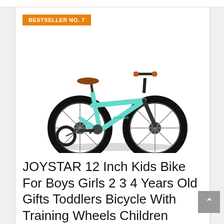BESTSELLER NO. 7
[Figure (photo): A mint green JOYSTAR 12-inch kids bicycle with brown leather seat and handgrips, black tires, and small training wheels on the left side. The bike is shown in profile view against a white background.]
JOYSTAR 12 Inch Kids Bike For Boys Girls 2 3 4 Years Old Gifts Toddlers Bicycle With Training Wheels Children Bikes With Foot Brake BMX Style Mint Green